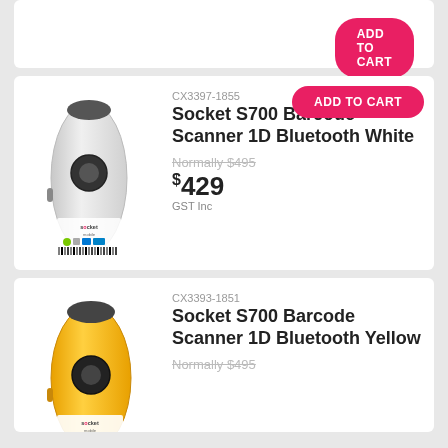[Figure (other): Partial product card with ADD TO CART button visible at top]
CX3397-1855
Socket S700 Barcode Scanner 1D Bluetooth White
Normally $495
$429 GST Inc
ADD TO CART
[Figure (photo): Socket S700 white barcode scanner with Socket Mobile branding and barcode label]
CX3393-1851
Socket S700 Barcode Scanner 1D Bluetooth Yellow
Normally $495
[Figure (photo): Socket S700 yellow barcode scanner with Socket Mobile branding and barcode label]